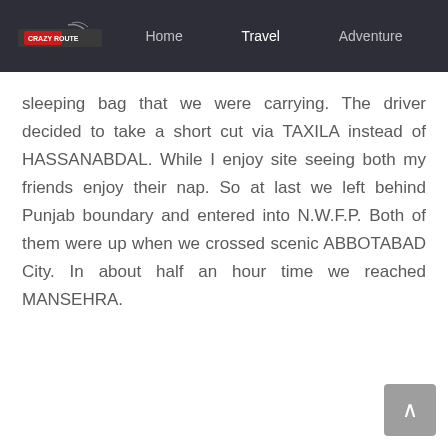Home  Travel  Adventure
sleeping bag that we were carrying. The driver decided to take a short cut via TAXILA instead of HASSANABDAL. While I enjoy site seeing both my friends enjoy their nap. So at last we left behind Punjab boundary and entered into N.W.F.P. Both of them were up when we crossed scenic ABBOTABAD City. In about half an hour time we reached MANSEHRA.